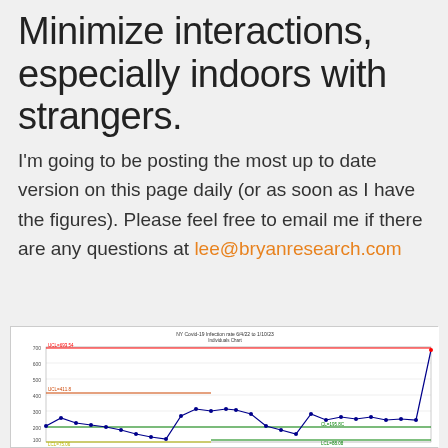Minimize interactions, especially indoors with strangers.
I'm going to be posting the most up to date version on this page daily (or as soon as I have the figures). Please feel free to email me if there are any questions at lee@bryanresearch.com
[Figure (continuous-plot): An Individuals Chart (I-chart) showing 'NY Covid-19 Infection rate 6/4/22 to 1/10/23'. The chart shows a line plot with blue data points, a red upper control limit (UCL≈693.54), an orange/red line (UCL≈411.8), a green center line (CL≈195.8), a lower green line (LCL≈88.08), and a yellow lower line (LCL≈75.06). Data fluctuates between roughly 100 and 600 for most of the series, with a sharp spike upward at the far right near 650.]